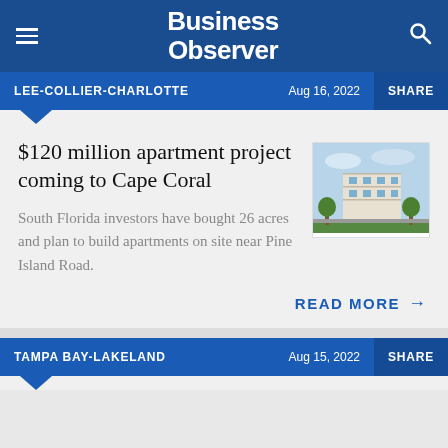Business Observer
LEE-COLLIER-CHARLOTTE | Aug 16, 2022 | SHARE
$120 million apartment project coming to Cape Coral
[Figure (photo): Rendering of a multi-story apartment building complex]
South Florida investors have bought 26 acres and plan to build apartments on site near Pine Island Road.
READ MORE →
TAMPA BAY-LAKELAND | Aug 15, 2022 | SHARE